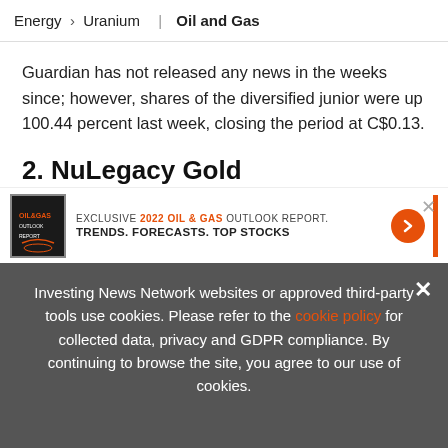Energy > Uranium | Oil and Gas
Guardian has not released any news in the weeks since; however, shares of the diversified junior were up 100.44 percent last week, closing the period at C$0.13.
2. NuLegacy Gold
Focu ... Gold ...
[Figure (infographic): Ad banner: EXCLUSIVE 2022 OIL & GAS OUTLOOK REPORT. TRENDS. FORECASTS. TOP STOCKS. With orange arrow button and orange vertical bar.]
Investing News Network websites or approved third-party tools use cookies. Please refer to the cookie policy for collected data, privacy and GDPR compliance. By continuing to browse the site, you agree to our use of cookies.